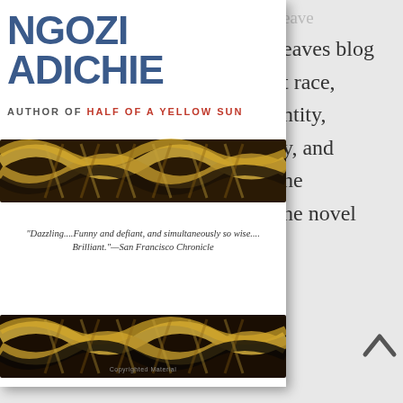[Figure (photo): Book cover of 'Americanah' by Chimamanda Ngozi Adichie. Blue bold author name 'NGOZI ADICHIE' at top, subtitle 'AUTHOR OF HALF OF A YELLOW SUN' in red caps, braided rope/hair imagery across middle, quote 'Dazzling....Funny and defiant, and simultaneously so wise.... Brilliant.' —San Francisco Chronicle]
eaves blog t race, ntity, y, and he he novel grapples with difficult issues without becoming overwrought. I would not have read this based on the flap copy, but I was hooked from page